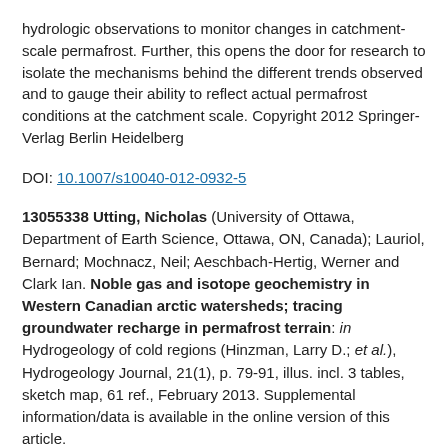hydrologic observations to monitor changes in catchment-scale permafrost. Further, this opens the door for research to isolate the mechanisms behind the different trends observed and to gauge their ability to reflect actual permafrost conditions at the catchment scale. Copyright 2012 Springer-Verlag Berlin Heidelberg
DOI: 10.1007/s10040-012-0932-5
13055338 Utting, Nicholas (University of Ottawa, Department of Earth Science, Ottawa, ON, Canada); Lauriol, Bernard; Mochnacz, Neil; Aeschbach-Hertig, Werner and Clark Ian. Noble gas and isotope geochemistry in Western Canadian arctic watersheds; tracing groundwater recharge in permafrost terrain: in Hydrogeology of cold regions (Hinzman, Larry D.; et al.), Hydrogeology Journal, 21(1), p. 79-91, illus. incl. 3 tables, sketch map, 61 ref., February 2013. Supplemental information/data is available in the online version of this article.